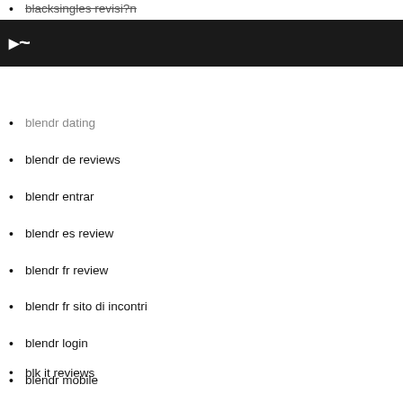blacksingles revisi?n
blendr review
C~
blendr dating
blendr de reviews
blendr entrar
blendr es review
blendr fr review
blendr fr sito di incontri
blendr login
blendr mobile
blendr mobile site
Blendr pagina de citas
blendr randki
Blendr review
blendr reviews
blendr Service Clients
Blendr visitors
blendr-inceleme adult-dating
blk es sign in
blk funziona
blk Handy-Login
blk it reviews
BLK review
Blk unf?hige
BLK visitors